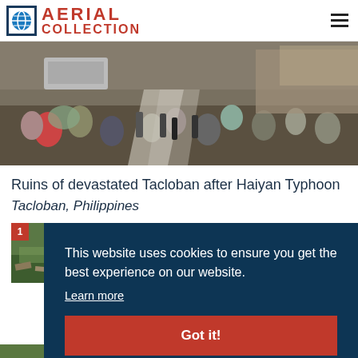AERIAL COLLECTION
[Figure (photo): Aerial or elevated view of crowded street scene in Tacloban Philippines after Typhoon Haiyan, showing crowds of people with umbrellas and damaged structures]
Ruins of devastated Tacloban after Haiyan Typhoon
Tacloban, Philippines
[Figure (photo): Thumbnail photo of typhoon destruction aftermath]
This website uses cookies to ensure you get the best experience on our website.
Learn more
Got it!